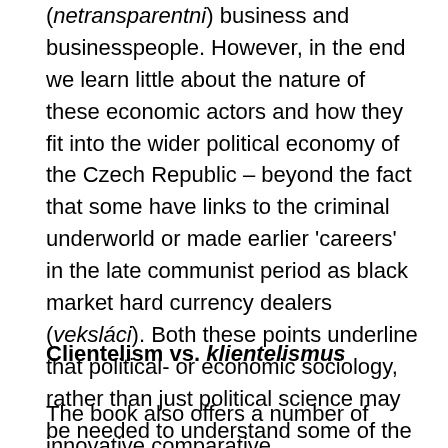(netransparentni) business and businesspeople. However, in the end we learn little about the nature of these economic actors and how they fit into the wider political economy of the Czech Republic – beyond the fact that some have links to the criminal underworld or made earlier 'careers' in the late communist period as black market hard currency dealers (veksláci). Both these points underline that political- or economic sociology, rather than just political science may be needed to understand some of the strange transformations Czech parties have undergone.
Clientelism vs. klientelismus
The book also offers a number of innovative comparative